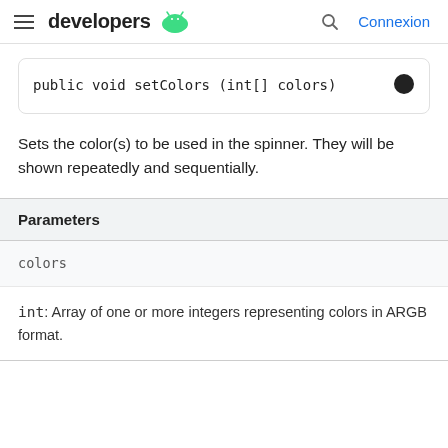developers  Connexion
public void setColors (int[] colors)
Sets the color(s) to be used in the spinner. They will be shown repeatedly and sequentially.
| Parameters |
| --- |
| colors |
| int: Array of one or more integers representing colors in ARGB format. |